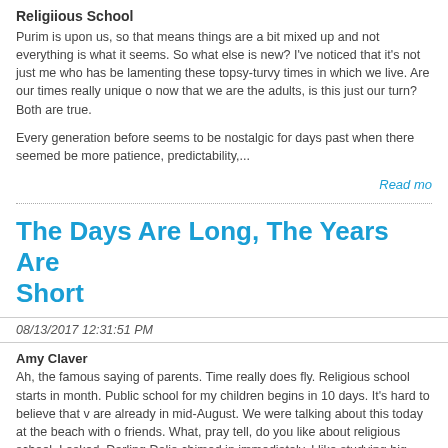Religiious School
Purim is upon us, so that means things are a bit mixed up and not everything is what it seems. So what else is new? I've noticed that it's not just me who has be lamenting these topsy-turvy times in which we live. Are our times really unique or now that we are the adults, is this just our turn? Both are true.
Every generation before seems to be nostalgic for days past when there seemed to be more patience, predictability,...
Read more
The Days Are Long, The Years Are Short
08/13/2017 12:31:51 PM
Amy Claver
Ah, the famous saying of parents. Time really does fly. Religious school starts in month. Public school for my children begins in 10 days. It's hard to believe that we are already in mid-August. We were talking about this today at the beach with our friends. What, pray tell, do you like about religious school, I asked. Darling Dalia chimed in immediately, I like studying big questions with good friends. I may hav